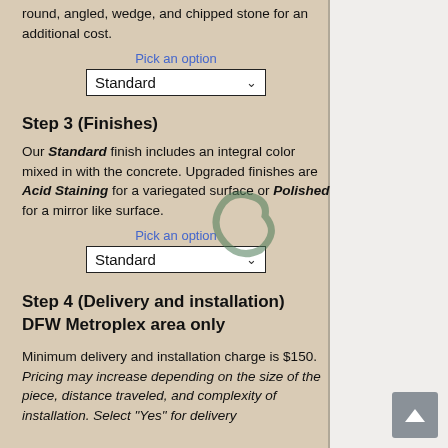round, angled, wedge, and chipped stone for an additional cost.
Pick an option
Standard
Step 3 (Finishes)
Our Standard finish includes an integral color mixed in with the concrete. Upgraded finishes are Acid Staining for a variegated surface or Polished for a mirror like surface.
Pick an option
Standard
Step 4 (Delivery and installation) DFW Metroplex area only
Minimum delivery and installation charge is $150. Pricing may increase depending on the size of the piece, distance traveled, and complexity of installation. Select "Yes" for delivery